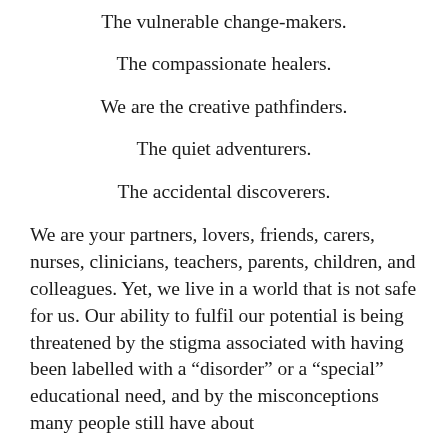The vulnerable change-makers.
The compassionate healers.
We are the creative pathfinders.
The quiet adventurers.
The accidental discoverers.
We are your partners, lovers, friends, carers, nurses, clinicians, teachers, parents, children, and colleagues. Yet, we live in a world that is not safe for us. Our ability to fulfil our potential is being threatened by the stigma associated with having been labelled with a “disorder” or a “special” educational need, and by the misconceptions many people still have about